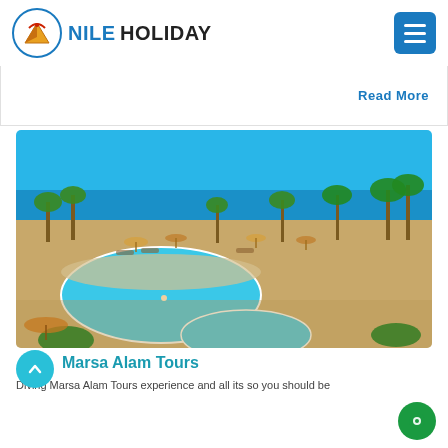NILE HOLIDAY
Read More
[Figure (photo): Aerial view of a luxury Red Sea resort with large swimming pools, palm trees, beach umbrellas, and the sea in the background — Marsa Alam, Egypt]
Marsa Alam Tours
Diving Marsa Alam Tours experience and all its so you should be